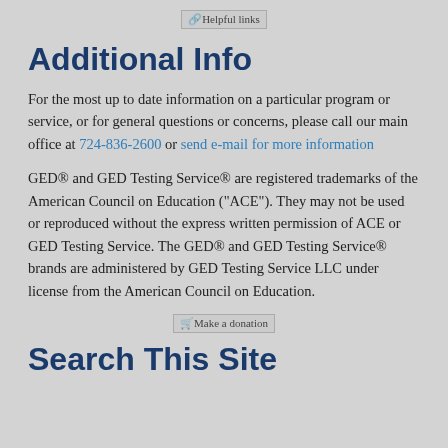[Figure (other): Helpful links icon/image with alt text 'Helpful links']
Additional Info
For the most up to date information on a particular program or service, or for general questions or concerns, please call our main office at 724-836-2600 or send e-mail for more information
GED® and GED Testing Service® are registered trademarks of the American Council on Education (“ACE”). They may not be used or reproduced without the express written permission of ACE or GED Testing Service. The GED® and GED Testing Service® brands are administered by GED Testing Service LLC under license from the American Council on Education.
[Figure (other): Make a donation icon/image with alt text 'Make a donation']
Search This Site